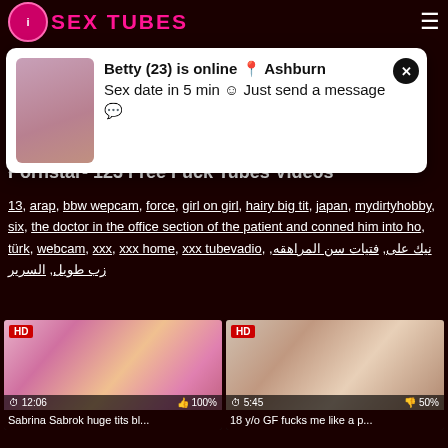i SEX TUBES
[Figure (screenshot): Popup notification showing a woman's photo with text: Betty (23) is online 📍 Ashburn. Sex date in 5 min 😊 Just send a message 💌]
Pornstar- 123 Free Fuck Tubes Videos
13, arap, bbw wepcam, force, girl on girl, hairy big tit, japan, mydirtyhobby, six, the doctor in the office section of the patient and conned him into ho, türk, webcam, xxx, xxx home, xxx tubevadio, نيك على, فتيات سن المراهقه, زب طويل, السرير
[Figure (photo): HD video thumbnail: Sabrina Sabrok huge tits bl... Duration 12:06, 100% likes]
[Figure (photo): HD video thumbnail: 18 y/o GF fucks me like a p... Duration 5:45, 50% dislikes]
Sabrina Sabrok huge tits bl...
18 y/o GF fucks me like a p...